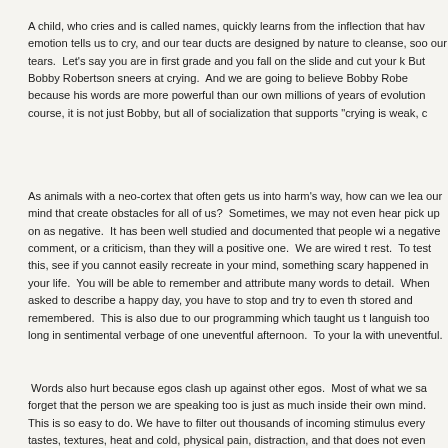A child, who cries and is called names, quickly learns from the inflection that hav emotion tells us to cry, and our tear ducts are designed by nature to cleanse, soo our tears.  Let's say you are in first grade and you fall on the slide and cut your k But Bobby Robertson sneers at crying.  And we are going to believe Bobby Robe because his words are more powerful than our own millions of years of evolution course, it is not just Bobby, but all of socialization that supports "crying is weak, c
As animals with a neo-cortex that often gets us into harm's way, how can we lea our mind that create obstacles for all of us?  Sometimes, we may not even hear pick up on as negative.  It has been well studied and documented that people wi a negative comment, or a criticism, than they will a positive one.  We are wired t rest.  To test this, see if you cannot easily recreate in your mind, something scary happened in your life.  You will be able to remember and attribute many words to detail.  When asked to describe a happy day, you have to stop and try to even th stored and remembered.  This is also due to our programming which taught us t languish too long in sentimental verbage of one uneventful afternoon.  To your la with uneventful.
Words also hurt because egos clash up against other egos.  Most of what we sa forget that the person we are speaking too is just as much inside their own mind. This is so easy to do. We have to filter out thousands of incoming stimulus every tastes, textures, heat and cold, physical pain, distraction, and that does not even inside our body, and what we see!  Add to the distractions all your verbal memor short sentences, and factor in your programming since you first learned to hear